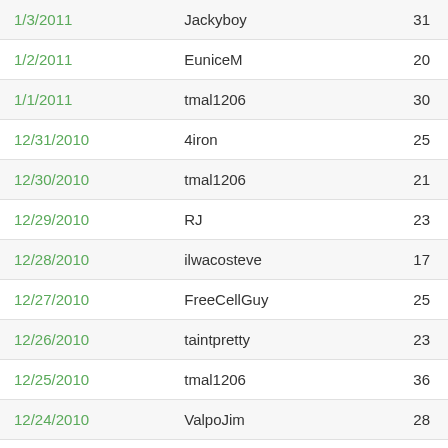| Date | User | Score |
| --- | --- | --- |
| 1/3/2011 | Jackyboy | 31 |
| 1/2/2011 | EuniceM | 20 |
| 1/1/2011 | tmal1206 | 30 |
| 12/31/2010 | 4iron | 25 |
| 12/30/2010 | tmal1206 | 21 |
| 12/29/2010 | RJ | 23 |
| 12/28/2010 | ilwacosteve | 17 |
| 12/27/2010 | FreeCellGuy | 25 |
| 12/26/2010 | taintpretty | 23 |
| 12/25/2010 | tmal1206 | 36 |
| 12/24/2010 | ValpoJim | 28 |
| 12/23/2010 | Jackyboy | 38 |
| 12/22/2010 | FreeCellGuy | 22 |